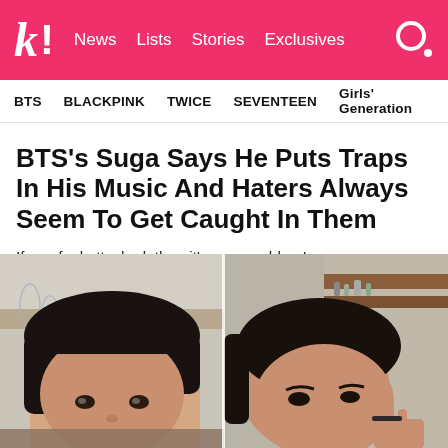k! News Lists Stories Exclusives
BTS BLACKPINK TWICE SEVENTEEN Girls' Generation
BTS's Suga Says He Puts Traps In His Music And Haters Always Seem To Get Caught In Them
If you feel attacked, then it's your problem!
[Figure (photo): Two side-by-side close-up photos of BTS member Suga (Min Yoongi) with dark hair, one looking forward and one looking to the side]